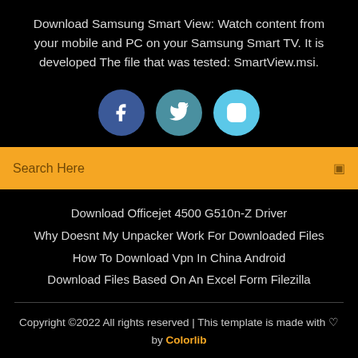Download Samsung Smart View: Watch content from your mobile and PC on your Samsung Smart TV. It is developed The file that was tested: SmartView.msi.
[Figure (illustration): Three circular social media icons: Facebook (dark blue), Twitter (teal/blue), Instagram (light blue), each with white icon symbols.]
Search Here
Download Officejet 4500 G510n-Z Driver
Why Doesnt My Unpacker Work For Downloaded Files
How To Download Vpn In China Android
Download Files Based On An Excel Form Filezilla
Copyright ©2022 All rights reserved | This template is made with ♡ by Colorlib